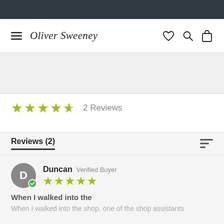Oliver Sweeney
★★★★½  2 Reviews
Reviews (2)
Duncan  Verified Buyer  ★★★★★  When I walked into the